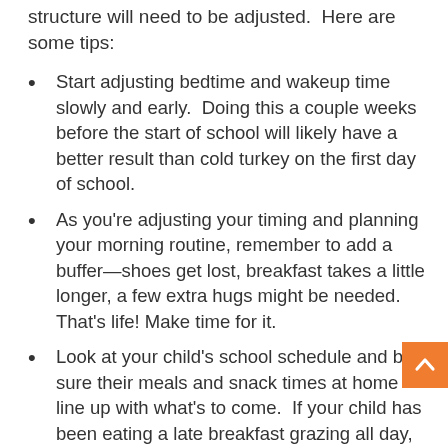structure will need to be adjusted.  Here are some tips:
Start adjusting bedtime and wakeup time slowly and early.  Doing this a couple weeks before the start of school will likely have a better result than cold turkey on the first day of school.
As you're adjusting your timing and planning your morning routine, remember to add a buffer—shoes get lost, breakfast takes a little longer, a few extra hugs might be needed.  That's life! Make time for it.
Look at your child's school schedule and be sure their meals and snack times at home line up with what's to come.  If your child has been eating a late breakfast grazing all day, they'll need to get their eating routine on a more structured schedule.  Check to see if and when snack time will be at school and work that into the schedule as well. For some great lunch and snack time ideas, check out one of our favorite resources